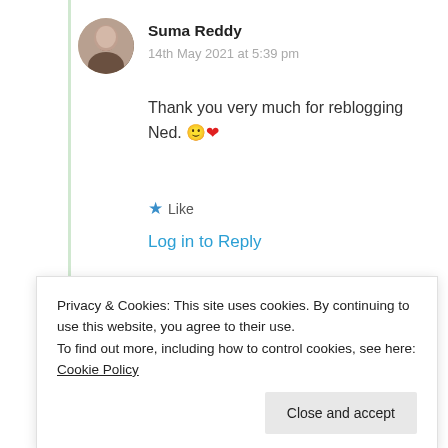Suma Reddy
14th May 2021 at 5:39 pm
Thank you very much for reblogging Ned. 🙂❤️
★ Like
Log in to Reply
Advertisements
[Figure (illustration): Advertisement banner with blue background showing three circular icons with device/app illustrations]
Privacy & Cookies: This site uses cookies. By continuing to use this website, you agree to their use.
To find out more, including how to control cookies, see here: Cookie Policy
Close and accept